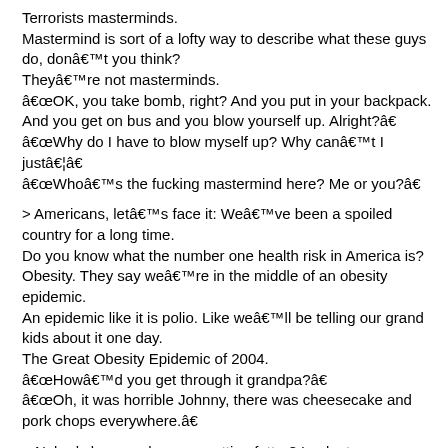Terrorists masterminds.
Mastermind is sort of a lofty way to describe what these guys do, don’t you think?
They’re not masterminds.
“OK, you take bomb, right? And you put in your backpack. And you get on bus and you blow yourself up. Alright?”
“Why do I have to blow myself up? Why can’t I just…”
“Who’s the fucking mastermind here? Me or you?”
> Americans, let’s face it: We’ve been a spoiled country for a long time.
Do you know what the number one health risk in America is? Obesity. They say we’re in the middle of an obesity epidemic.
An epidemic like it is polio. Like we’ll be telling our grand kids about it one day.
The Great Obesity Epidemic of 2004.
“How’d you get through it grandpa?”
“Oh, it was horrible Johnny, there was cheesecake and pork chops everywhere.”
> Nobody knows why were getting fatter? Look at our lifestyle.
I’ll sit at a drive thru.
I’ll sit there behind fifteen other cars instead of getting up